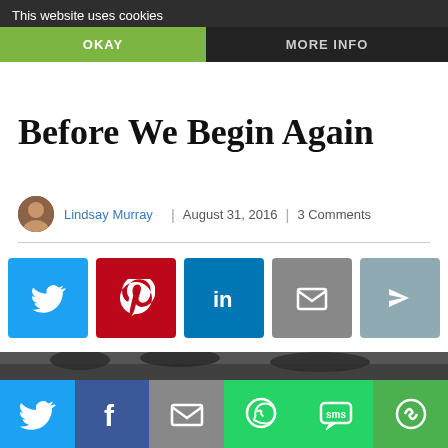This website uses cookies | OKAY | MORE INFO
Before We Begin Again
Lindsay Murray | August 31, 2016 | 3 Comments
[Figure (infographic): Social share buttons: Facebook, Twitter, Pinterest, LinkedIn, Email, Share, More Options]
[Figure (photo): Black and white photo of a child standing in a field looking away toward trees]
[Figure (infographic): Bottom bar with social share buttons: Twitter, Facebook, Email, WhatsApp, SMS, More Options]